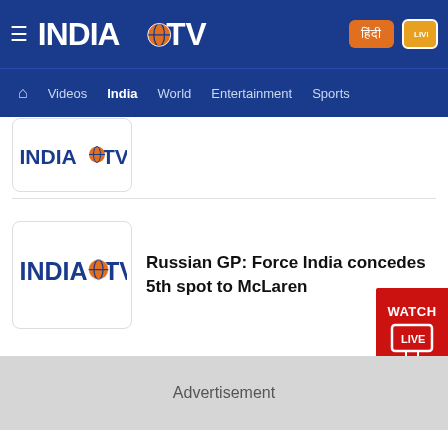India TV - hamburger menu, logo, Hindi button, LIVE button, nav: Videos, India, World, Entertainment, Sports
[Figure (logo): India TV logo (partially visible article thumbnail at top)]
[Figure (logo): India TV logo thumbnail for article: Russian GP: Force India concedes 5th spot to McLaren]
Russian GP: Force India concedes 5th spot to McLaren
[Figure (other): WATCH LIVE red button]
Advertisement